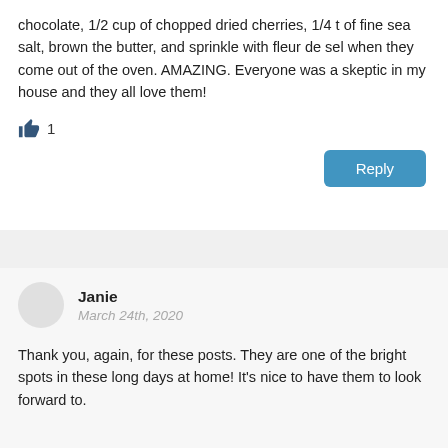chocolate, 1/2 cup of chopped dried cherries, 1/4 t of fine sea salt, brown the butter, and sprinkle with fleur de sel when they come out of the oven. AMAZING. Everyone was a skeptic in my house and they all love them!
👍 1
Reply
Janie
March 24th, 2020
Thank you, again, for these posts. They are one of the bright spots in these long days at home! It's nice to have them to look forward to.